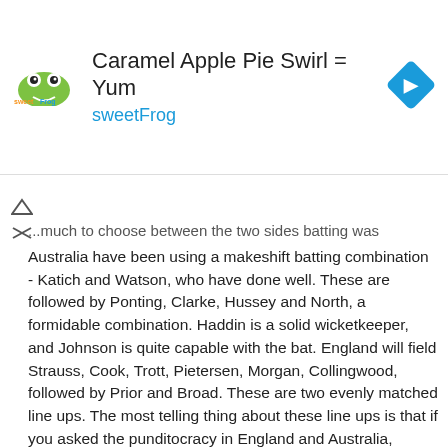[Figure (other): sweetFrog advertisement banner with logo, text 'Caramel Apple Pie Swirl = Yum' and 'sweetFrog', and a blue navigation icon]
...much to choose between the two sides batting was Australia have been using a makeshift batting combination - Katich and Watson, who have done well. These are followed by Ponting, Clarke, Hussey and North, a formidable combination. Haddin is a solid wicketkeeper, and Johnson is quite capable with the bat. England will field Strauss, Cook, Trott, Pietersen, Morgan, Collingwood, followed by Prior and Broad. These are two evenly matched line ups. The most telling thing about these line ups is that if you asked the punditocracy in England and Australia, almost to a man, they would point to Marcus North as the weak link. Why? Is it because North averages 37.4 in Tests? This is low for a specialist batsman, especially one who plays for Australia.
Yet, if you dig deeper into North's record, his batting average is low on account of having made only 77 runs in 8 innings against Pakistan. In all, in 32 innings, North has reached at least 50 9 times. Keep that figure in mind - 9 out of 32. He has also been dismissed...